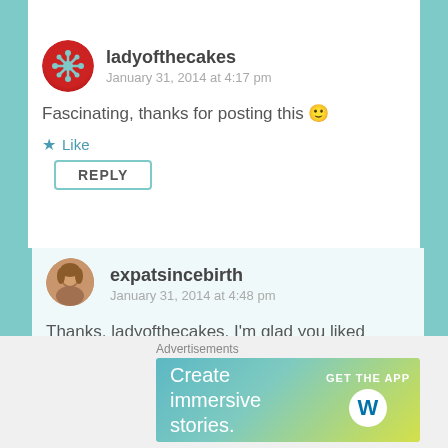ladyofthecakes
January 31, 2014 at 4:17 pm
Fascinating, thanks for posting this 🙂
Like
REPLY
expatsincebirth
January 31, 2014 at 4:48 pm
Thanks, ladyofthecakes, I'm glad you liked 😉
Advertisements
Create immersive stories.
GET THE APP